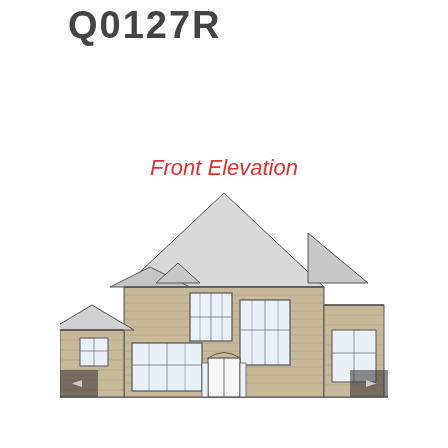Q0127R
Front Elevation
[Figure (engineering-diagram): Front elevation architectural drawing of a two-story residential house with brick facade, multiple rooflines with steep pitched gables, upper floor windows, large front windows, central double-entry door, and a side garage entry. Navigation arrows (left/right) appear at the bottom corners of the image.]